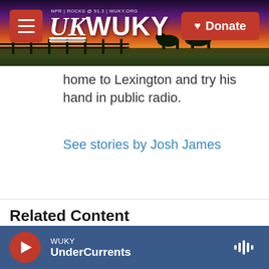[Figure (screenshot): WUKY NPR radio station website header banner with logo, menu button, and donate button over a sunset landscape background]
home to Lexington and try his hand in public radio.
See stories by Josh James
Related Content
[Figure (photo): Related content thumbnail image, partially visible]
WUKY UnderCurrents